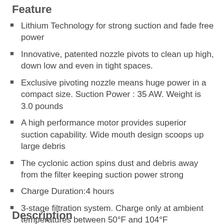Feature
Lithium Technology for strong suction and fade free power
Innovative, patented nozzle pivots to clean up high, down low and even in tight spaces.
Exclusive pivoting nozzle means huge power in a compact size. Suction Power : 35 AW. Weight is 3.0 pounds
A high performance motor provides superior suction capability. Wide mouth design scoops up large debris
The cyclonic action spins dust and debris away from the filter keeping suction power strong
Charge Duration:4 hours
3-stage filtration system. Charge only at ambient temperatures between 50°F and 104°F
Description